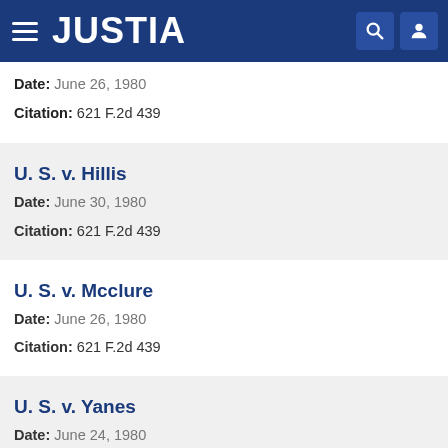JUSTIA
Date: June 26, 1980
Citation: 621 F.2d 439
U. S. v. Hillis
Date: June 30, 1980
Citation: 621 F.2d 439
U. S. v. Mcclure
Date: June 26, 1980
Citation: 621 F.2d 439
U. S. v. Yanes
Date: June 24, 1980
Citation: 621 F.2d 439